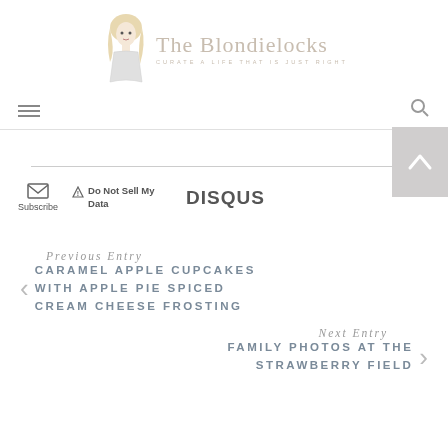[Figure (logo): The Blondielocks blog logo with illustrated woman and cursive text. Tagline: Curate a life that is just right.]
[Figure (infographic): Navigation bar with hamburger menu icon on left and search icon on right]
[Figure (infographic): Subscribe button with envelope icon, Do Not Sell My Data button with warning icon, DISQUS logo, and back-to-top arrow button]
Previous Entry
CARAMEL APPLE CUPCAKES WITH APPLE PIE SPICED CREAM CHEESE FROSTING
Next Entry
FAMILY PHOTOS AT THE STRAWBERRY FIELD